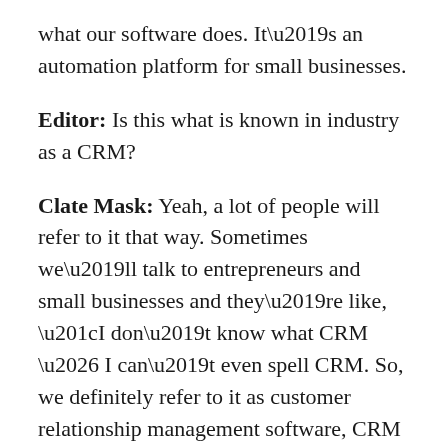what our software does. It's an automation platform for small businesses.
Editor: Is this what is known in industry as a CRM?
Clate Mask: Yeah, a lot of people will refer to it that way. Sometimes we'll talk to entrepreneurs and small businesses and they're like, “I don’t know what CRM … I can’t even spell CRM. So, we definitely refer to it as customer relationship management software, CRM for entrepreneurs, but simply put, it helps you to do a better job with your sales marketing and customer service.